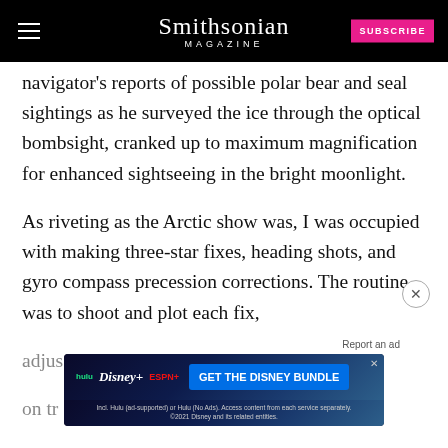Smithsonian MAGAZINE
navigator's reports of possible polar bear and seal sightings as he surveyed the ice through the optical bombsight, cranked up to maximum magnification for enhanced sightseeing in the bright moonlight.
As riveting as the Arctic show was, I was occupied with making three-star fixes, heading shots, and gyro compass precession corrections. The routine was to shoot and plot each fix, adjust... and on tr... heading on the gyro compass, calculate and plot
[Figure (screenshot): Advertisement banner for Disney Bundle (Hulu, Disney+, ESPN+) with 'GET THE DISNEY BUNDLE' call to action]